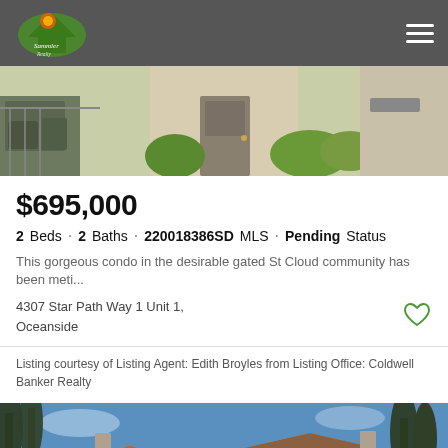Sammler Realty — navigation bar
[Figure (photo): Exterior photo of a condo showing front door, patio furniture, bushes and greenery]
$695,000
2 Beds · 2 Baths · 220018386SD MLS · Pending Status
This gorgeous condo in the desirable gated St Cloud community has been meti...
4307 Star Path Way 1 Unit 1, Oceanside
Listing courtesy of Listing Agent: Edith Broyles from Listing Office: Coldwell Banker Realty
[Figure (photo): Exterior photo of a house showing rooftop with brown tiles, skylights, cypress trees and blue sky]